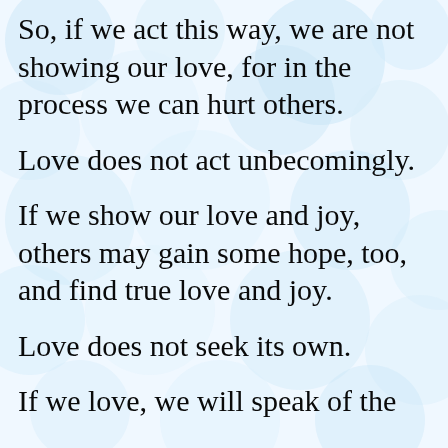So, if we act this way, we are not showing our love, for in the process we can hurt others.
Love does not act unbecomingly.
If we show our love and joy, others may gain some hope, too, and find true love and joy.
Love does not seek its own.
If we love, we will speak of the